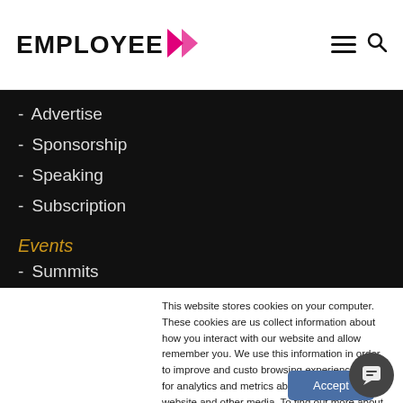EMPLOYEE >
- Advertise
- Sponsorship
- Speaking
- Subscription
Events
- Summits
This website stores cookies on your computer. These cookies are us collect information about how you interact with our website and allow remember you. We use this information in order to improve and custo browsing experience and for analytics and metrics about our visitors this website and other media. To find out more about the cookies we our Privacy Policy
Accept